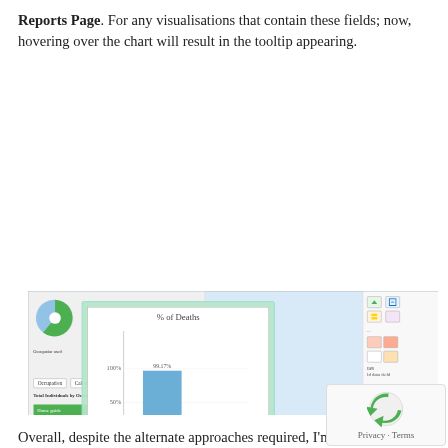Reports Page. For any visualisations that contain these fields; now, hovering over the chart will result in the tooltip appearing.
[Figure (screenshot): Screenshot of a Power BI Reports Page showing a tooltip popup with a bar chart titled '% of Deaths' with bars for False (99.17%) and True (2.10%), overlaid on a dashboard with a treemap, pie chart, and right-side Tooltip panel showing 'Keep all filters' toggle Off.]
Overall, despite the alternate approaches required, I'm intrigued with a potential of Power BI and intend to build on my visualisation experiences with it. I hope that above example may help users to improve their understanding and enrich the quality of the...